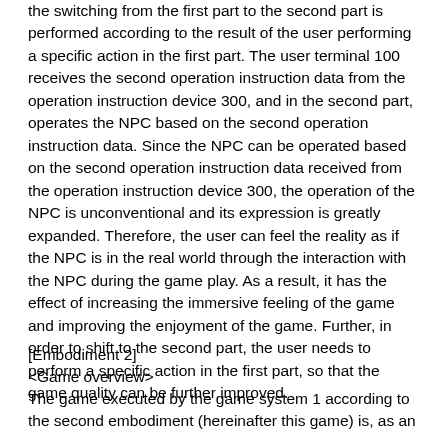the switching from the first part to the second part is performed according to the result of the user performing a specific action in the first part. The user terminal 100 receives the second operation instruction data from the operation instruction device 300, and in the second part, operates the NPC based on the second operation instruction data. Since the NPC can be operated based on the second operation instruction data received from the operation instruction device 300, the operation of the NPC is unconventional and its expression is greatly expanded. Therefore, the user can feel the reality as if the NPC is in the real world through the interaction with the NPC during the game play. As a result, it has the effect of increasing the immersive feeling of the game and improving the enjoyment of the game. Further, in order to shift to the second part, the user needs to perform a specific action in the first part, so that the game quality can be further improved.
[Embodiment 2]
<Game overview>
The game executed by the game system 1 according to the second embodiment (hereinafter this game) is, as an